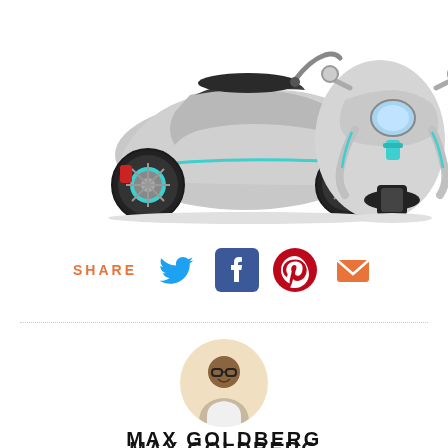[Figure (photo): Two silver Vespa electric scooters shown side by side: one from the side view on the left and one from the front view on the right. Both have teal/blue wheel accents.]
SHARE
[Figure (infographic): Social share icons: Twitter bird (blue), Facebook F (dark blue), Pinterest P (red), Email envelope (orange)]
[Figure (photo): Circular portrait photo of Max Goldberg, a young man wearing glasses and smiling, against a warm beige background.]
MAX GOLDBERG